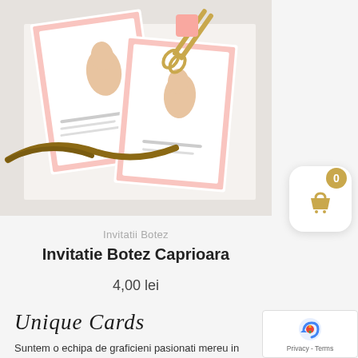[Figure (photo): Product photo showing baptism invitation cards with a deer illustration, a decorative twig, and gold scissors on a white background]
Invitatii Botez
Invitatie Botez Caprioara
4,00 lei
[Figure (other): Shopping cart widget with gold badge showing 0 items, white rounded square background]
Unique Cards
Suntem o echipa de graficieni pasionati mereu in cautar provocari.
[Figure (other): Google reCAPTCHA widget showing robot icon and Privacy - Terms text]